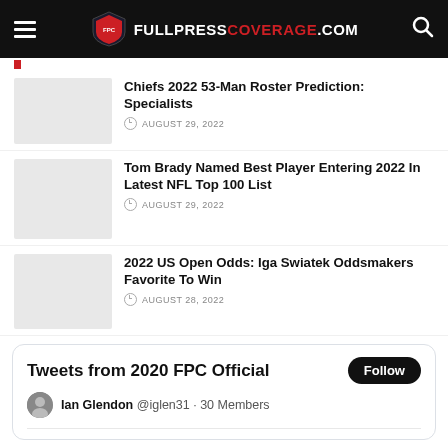FULLPRESS COVERAGE.COM
Chiefs 2022 53-Man Roster Prediction: Specialists
AUGUST 29, 2022
Tom Brady Named Best Player Entering 2022 In Latest NFL Top 100 List
AUGUST 29, 2022
2022 US Open Odds: Iga Swiatek Oddsmakers Favorite To Win
AUGUST 28, 2022
Tweets from 2020 FPC Official
Ian Glendon @iglen31 · 30 Members